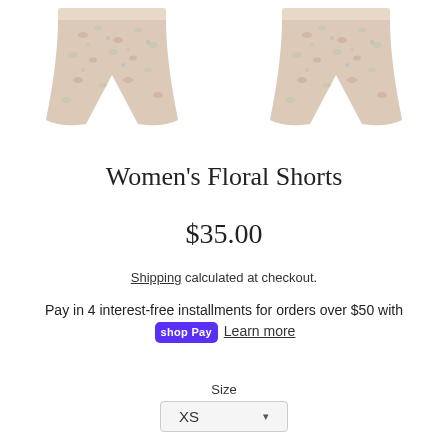[Figure (photo): Two floral-patterned women's shorts displayed side by side against a white background, showing front view of both garments with a light pastel floral print pattern.]
Women's Floral Shorts
$35.00
Shipping calculated at checkout.
Pay in 4 interest-free installments for orders over $50 with shop Pay Learn more
Size
XS